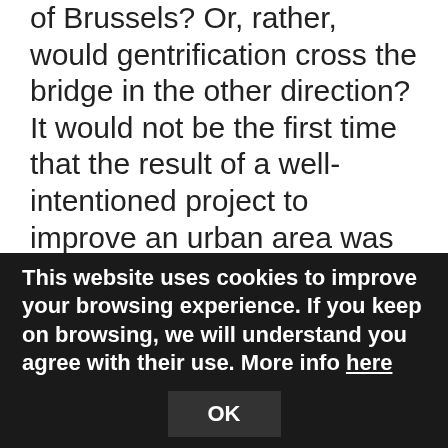of Brussels? Or, rather, would gentrification cross the bridge in the other direction? It would not be the first time that the result of a well-intentioned project to improve an urban area was heightening its appeal as real estate, only to end up expelling the residents with lower acquisitive power. Raising these kinds of contradictions is very
This website uses cookies to improve your browsing experience. If you keep on browsing, we will understand you agree with their use. More info here
OK